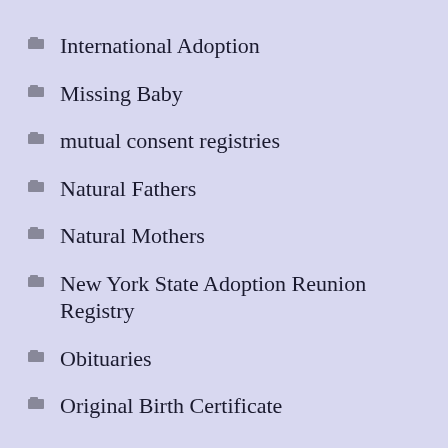International Adoption
Missing Baby
mutual consent registries
Natural Fathers
Natural Mothers
New York State Adoption Reunion Registry
Obituaries
Original Birth Certificate